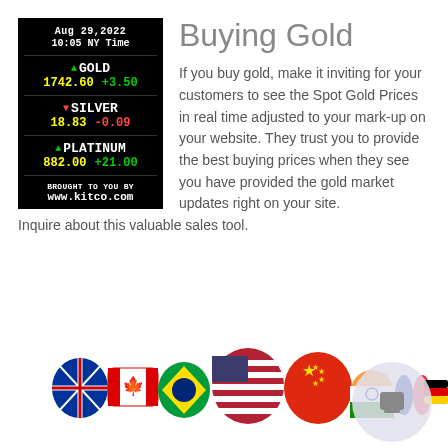[Figure (screenshot): Kitco gold/silver/platinum ticker widget showing prices for Aug 29,2022 at 10:05 NY Time. GOLD: 1742.60 +3.50, SILVER: 18.83 -0.09, PLATINUM: 882.00 +21.00. Brought to you by www.kitco.com]
Buying Gold
If you buy gold, make it inviting for your customers to see the Spot Gold Prices in real time adjusted to your mark-up on your website. They trust you to provide the best buying prices when they see you have provided the gold market updates right on your site. Inquire about this valuable sales tool.
[Figure (illustration): Speech bubble flags from various countries including UK, Canada, Brazil, USA, China, India, France, Germany, Japan and others arranged at the bottom of the page. A circular icon overlay appears on the right.]